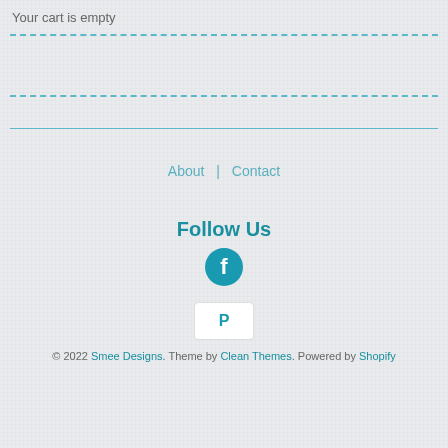Your cart is empty
About | Contact
Follow Us
[Figure (logo): Facebook circular icon — teal circle with white 'f' letter]
[Figure (logo): PayPal icon — white rounded rectangle with PayPal 'P' logo in blue]
© 2022 Smee Designs. Theme by Clean Themes. Powered by Shopify